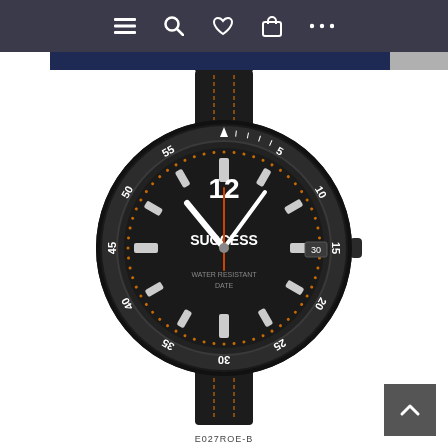[Figure (screenshot): E-commerce website top navigation bar with menu, search, heart/wishlist, bag/cart, and more icons on dark background]
[Figure (photo): Black analog watch with leather strap, bezel marked with 5-55 minute markers, brand name SUCCESS on dial, orange accent stitching on strap, model number E027ROE-B]
E027ROE-B